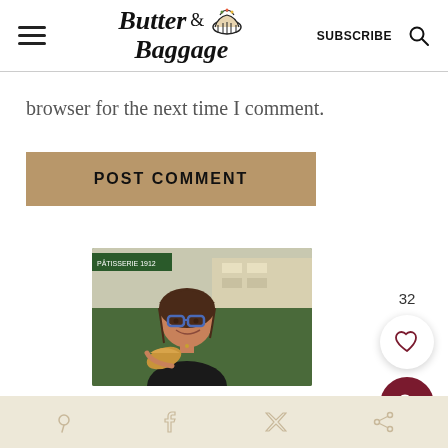Butter & Baggage — SUBSCRIBE
browser for the next time I comment.
POST COMMENT
[Figure (photo): Woman with blue glasses smiling, holding bread, in a bakery/store setting]
Social share icons bar at bottom